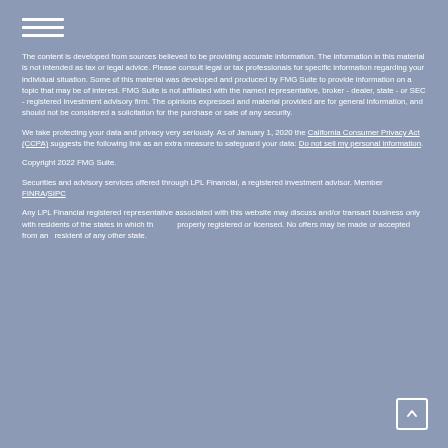[Figure (other): Hamburger menu icon with three horizontal white lines]
The content is developed from sources believed to be providing accurate information. The information in this material is not intended as tax or legal advice. Please consult legal or tax professionals for specific information regarding your individual situation. Some of this material was developed and produced by FMG Suite to provide information on a topic that may be of interest. FMG Suite is not affiliated with the named representative, broker - dealer, state - or SEC - registered investment advisory firm. The opinions expressed and material provided are for general information, and should not be considered a solicitation for the purchase or sale of any security.
We take protecting your data and privacy very seriously. As of January 1, 2020 the California Consumer Privacy Act (CCPA) suggests the following link as an extra measure to safeguard your data: Do not sell my personal information.
Copyright 2022 FMG Suite.
Securities and advisory services offered through LPL Financial, a registered investment advisor. Member FINRA/SIPC
Any LPL Financial registered representative associated with this website may discuss and/or transact business only with residents of the states in which they are properly registered or licensed. No offers may be made or accepted from any resident of any other state.